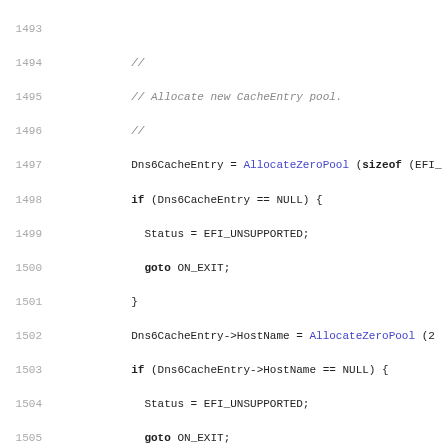[Figure (screenshot): Source code listing lines 1493-1524 showing C code for DNS6 cache entry allocation using AllocateZeroPool, CopyMem, and UpdateDns6Cache functions with error handling.]